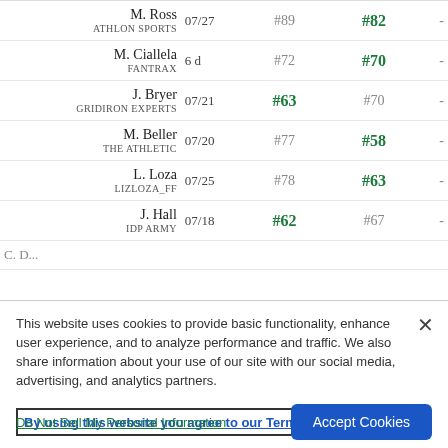| Expert | Date | Rank A | Rank B |  |
| --- | --- | --- | --- | --- |
| M. Ross
ATHLON SPORTS | 07/27 | #89 | #82 | - |
| M. Ciallela
FANTRAX | 6 d | #72 | #70 | - |
| J. Bryer
GRIDIRON EXPERTS | 07/21 | #63 | #70 | - |
| M. Beller
THE ATHLETIC | 07/20 | #77 | #58 | - |
| L. Loza
LIZLOZA_FF | 07/25 | #78 | #63 | - |
| J. Hall
IDP ARMY | 07/18 | #62 | #67 | - |
This website uses cookies to provide basic functionality, enhance user experience, and to analyze performance and traffic. We also share information about your use of our site with our social media, advertising, and analytics partners.
By using this website you agree to our Terms of Use.
Do Not Sell My Personal Information
Accept Cookies